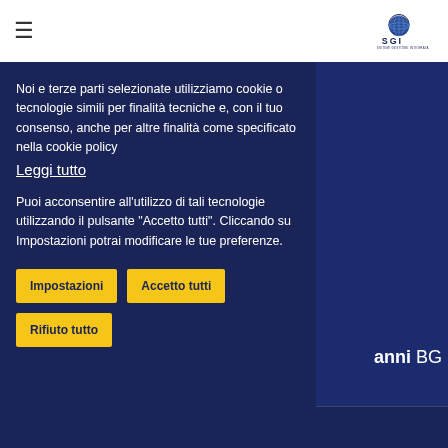≡  SGI - Sistemi Gestione Integrata
Noi e terze parti selezionate utilizziamo cookie o tecnologie simili per finalità tecniche e, con il tuo consenso, anche per altre finalità come specificato nella cookie policy Leggi tutto
Puoi acconsentire all'utilizzo di tali tecnologie utilizzando il pulsante "Accetto tutti". Cliccando su Impostazioni potrai modificare le tue preferenze.
Impostazioni   Accetto tutti   Rifiuto tutto
anni BG
Via Gasparini 107, 24125 Bergamo